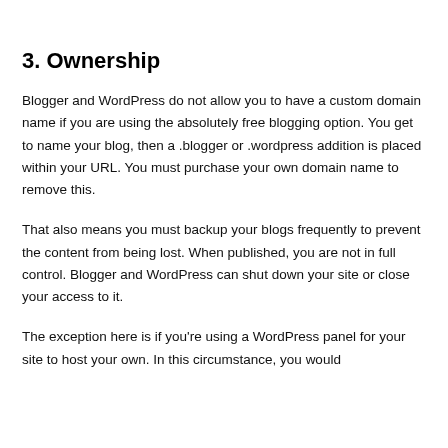3. Ownership
Blogger and WordPress do not allow you to have a custom domain name if you are using the absolutely free blogging option. You get to name your blog, then a .blogger or .wordpress addition is placed within your URL. You must purchase your own domain name to remove this.
That also means you must backup your blogs frequently to prevent the content from being lost. When published, you are not in full control. Blogger and WordPress can shut down your site or close your access to it.
The exception here is if you're using a WordPress panel for your site to host your own. In this circumstance, you would